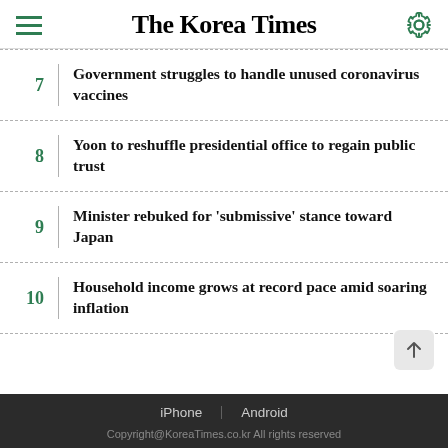The Korea Times
7 | Government struggles to handle unused coronavirus vaccines
8 | Yoon to reshuffle presidential office to regain public trust
9 | Minister rebuked for 'submissive' stance toward Japan
10 | Household income grows at record pace amid soaring inflation
iPhone | Android
Copyright@KoreaTimes.co.kr All rights reserved